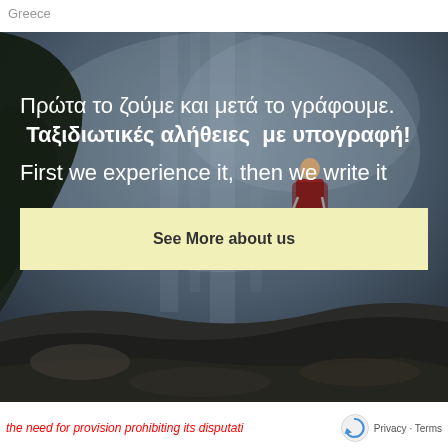Greece
[Figure (photo): A hiker with trekking poles and a backpack standing on rocks against a dramatic misty/cloudy background, seen from behind/side profile.]
Πρώτα το ζούμε και μετά το γράφουμε.  Ταξιδιωτικές αλήθειες  με υπογραφή!
First we experience it, then we write it
See More about us
the need for provision prohibiting its disputati  Privacy · Terms